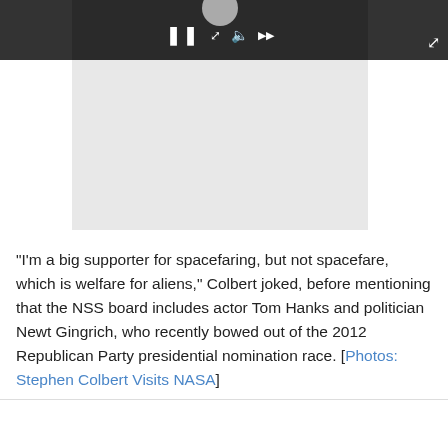[Figure (screenshot): Video player top bar with dark background, pause button, avatar circle, and expand icon. Below is a light gray video placeholder area.]
"I'm a big supporter for spacefaring, but not spacefare, which is welfare for aliens," Colbert joked, before mentioning that the NSS board includes actor Tom Hanks and politician Newt Gingrich, who recently bowed out of the 2012 Republican Party presidential nomination race. [Photos: Stephen Colbert Visits NASA]